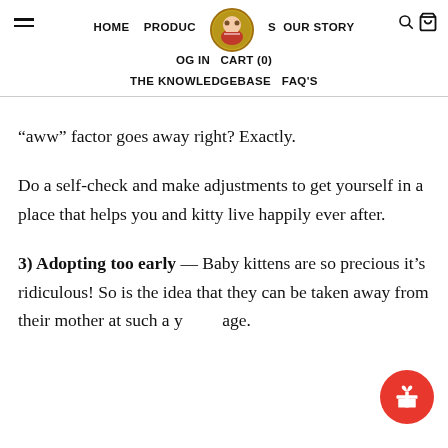HOME   PRODUCTS   OUR STORY   THE KNOWLEDGEBASE   LOG IN   CART (0)   FAQ'S
“aww” factor goes away right? Exactly.
Do a self-check and make adjustments to get yourself in a place that helps you and kitty live happily ever after.
3) Adopting too early — Baby kittens are so precious it’s ridiculous! So is the idea that they can be taken away from their mother at such a young age.